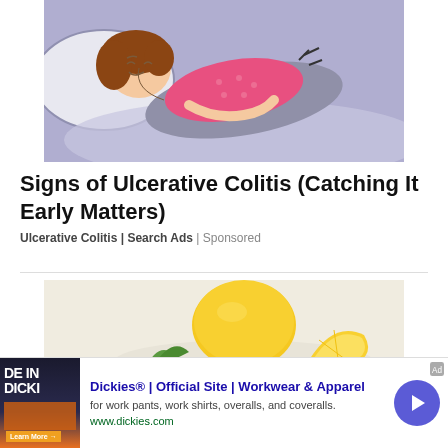[Figure (illustration): Cartoon illustration of a woman lying in bed with stomach pain, wearing a pink polka-dot shirt, holding her abdomen, with pain lines near her stomach area. Background is purple/lavender.]
Signs of Ulcerative Colitis (Catching It Early Matters)
Ulcerative Colitis | Search Ads | Sponsored
[Figure (photo): Photo of lemons — one whole yellow lemon and one sliced lemon half on a light surface with some greenery.]
[Figure (infographic): Advertisement banner: Dickies® | Official Site | Workwear & Apparel. for work pants, work shirts, overalls, and coveralls. www.dickies.com. Shows a book cover thumbnail with text 'DE IN DICKI'. Has a blue arrow button and close X button.]